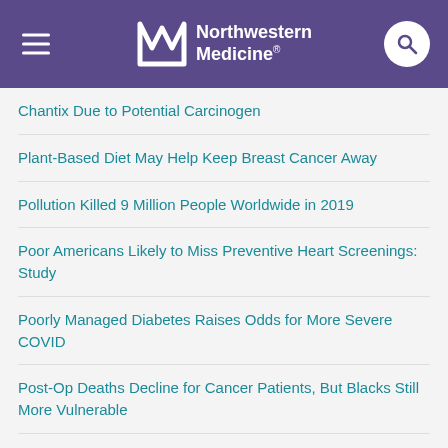Northwestern Medicine
Chantix Due to Potential Carcinogen
Plant-Based Diet May Help Keep Breast Cancer Away
Pollution Killed 9 Million People Worldwide in 2019
Poor Americans Likely to Miss Preventive Heart Screenings: Study
Poorly Managed Diabetes Raises Odds for More Severe COVID
Post-Op Deaths Decline for Cancer Patients, But Blacks Still More Vulnerable
Postpartum Depression Can Do Long-Term Harm to Women's Finances